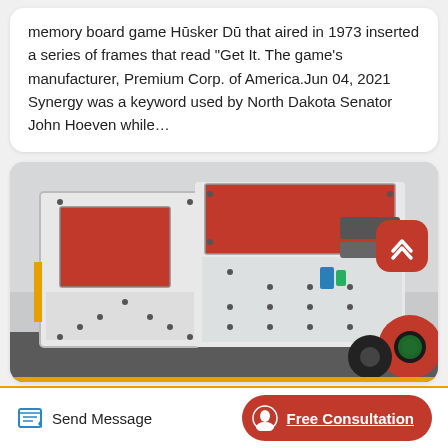memory board game Hūsker Dū that aired in 1973 inserted a series of frames that read "Get It. The game's manufacturer, Premium Corp. of America.Jun 04, 2021 Synergy was a keyword used by North Dakota Senator John Hoeven while…
[Figure (photo): Photo of large industrial impact crusher/hammer mill machines, white and red colored, with open panels showing red interior, black wheels visible on the right side, taken in an industrial warehouse setting.]
Send Message
Free Consultation